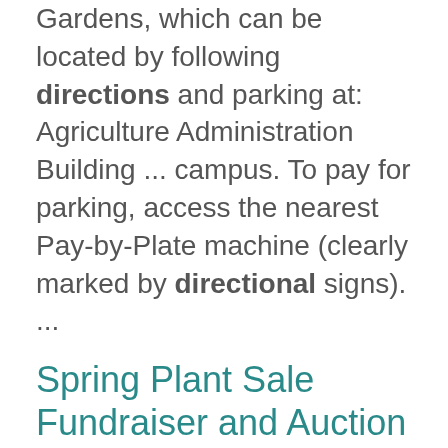Gardens, which can be located by following directions and parking at: Agriculture Administration Building ... campus. To pay for parking, access the nearest Pay-by-Plate machine (clearly marked by directional signs). ...
Spring Plant Sale Fundraiser and Auction
https://chadwickarboretum.osu.edu/events/spring-plant-sale-fundraiser-and-auction
May 12 begins: 4 pm (Silent Auction)
Friday, May 13 starts: 4 p.m. (Live Auction)
Saturday, May 14 ... local photographer, Karen English Horticulture Therapy: Hand